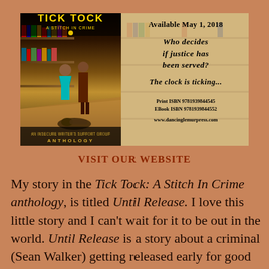[Figure (illustration): Book cover and promotional panel for 'Tick Tock: A Stitch In Crime' anthology. Left side shows the illustrated book cover with two figures standing over a body in a bookstore, gold/dark tones, with 'An Insecure Writer's Support Group Anthology' text. Right side shows a tan/sepia promotional panel with text: 'Available May 1, 2018', 'Who decides if justice has been served?', 'The clock is ticking...', Print ISBN 9781939844545, EBook ISBN 9781939844552, www.dancinglemurpress.com]
VISIT OUR WEBSITE
My story in the Tick Tock: A Stitch In Crime anthology, is titled Until Release. I love this little story and I can't wait for it to be out in the world. Until Release is a story about a criminal (Sean Walker) getting released early for good behaviour. Not everyone is happy about this